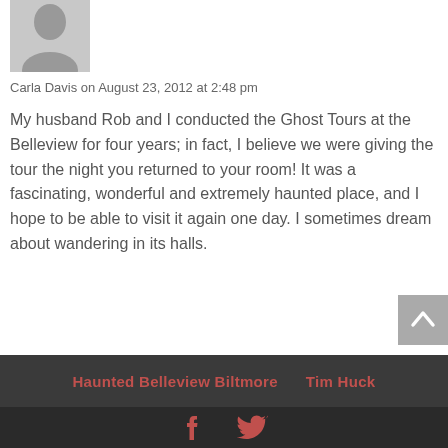[Figure (illustration): Grey default user avatar placeholder image]
Carla Davis on August 23, 2012 at 2:48 pm
My husband Rob and I conducted the Ghost Tours at the Belleview for four years; in fact, I believe we were giving the tour the night you returned to your room! It was a fascinating, wonderful and extremely haunted place, and I hope to be able to visit it again one day. I sometimes dream about wandering in its halls.
Haunted Belleview Biltmore   Tim Huck